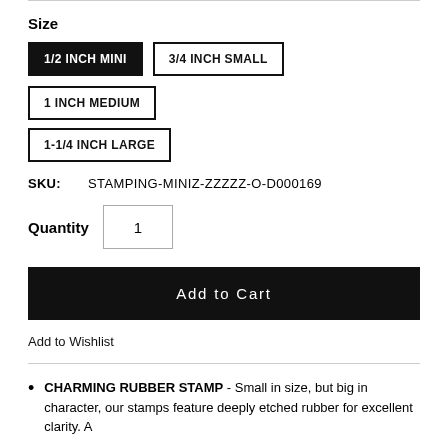Size
1/2 INCH MINI (selected)
3/4 INCH SMALL
1 INCH MEDIUM
1-1/4 INCH LARGE
SKU: STAMPING-MINIZ-ZZZZZ-O-D000169
Quantity 1
Add to Cart
Add to Wishlist
CHARMING RUBBER STAMP - Small in size, but big in character, our stamps feature deeply etched rubber for excellent clarity. A